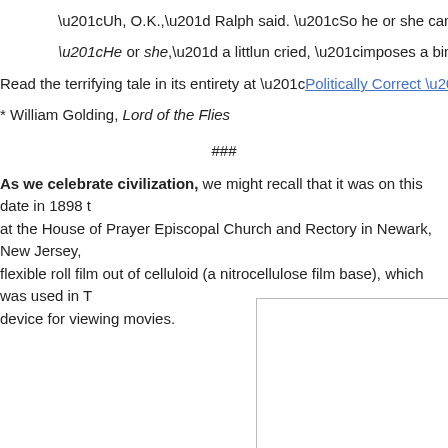“Uh, O.K.,” Ralph said. “So he or she can hold this conch when he o
“He or she,” a littlun cried, “imposes a binary view of sexuality that e
Read the terrifying tale in its entirety at “Politically Correct ‘Lord of the Flies’”
* William Golding, Lord of the Flies
###
As we celebrate civilization, we might recall that it was on this date in 1898 t at the House of Prayer Episcopal Church and Rectory in Newark, New Jersey, flexible roll film out of celluloid (a nitrocellulose film base), which was used in T device for viewing movies.
[Figure (other): White rectangle with border, partially visible at bottom right of page]